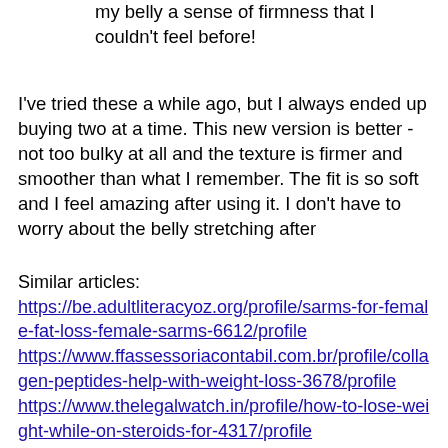my belly a sense of firmness that I couldn't feel before!
I've tried these a while ago, but I always ended up buying two at a time. This new version is better - not too bulky at all and the texture is firmer and smoother than what I remember. The fit is so soft and I feel amazing after using it. I don't have to worry about the belly stretching after
Similar articles:
https://be.adultliteracyoz.org/profile/sarms-for-female-fat-loss-female-sarms-6612/profile
https://www.ffassessoriacontabil.com.br/profile/collagen-peptides-help-with-weight-loss-3678/profile
https://www.thelegalwatch.in/profile/how-to-lose-weight-while-on-steroids-for-4317/profile